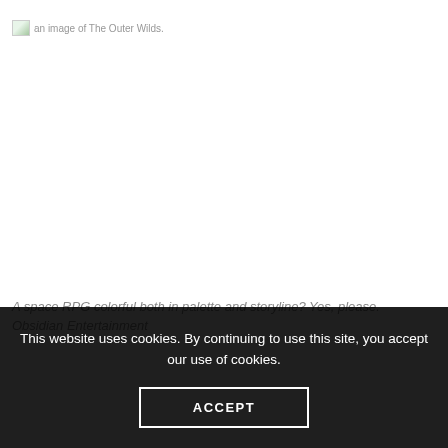[Figure (photo): A broken image placeholder showing 'an image of The Outer Wilds.']
A space RPG colorful both in palette and storyline? Yes, please.
Obsidian Entertainment
This website uses cookies. By continuing to use this site, you accept our use of cookies.
ACCEPT